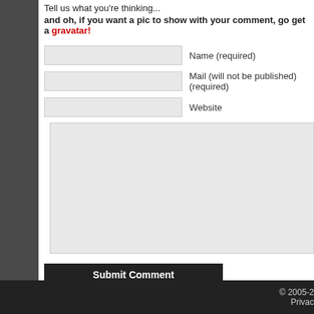Tell us what you're thinking...
and oh, if you want a pic to show with your comment, go get a gravatar!
Name (required)
Mail (will not be published) (required)
Website
Submit Comment
Prove You\'re Human: *
+ 8 =
© 2005-2  Privac